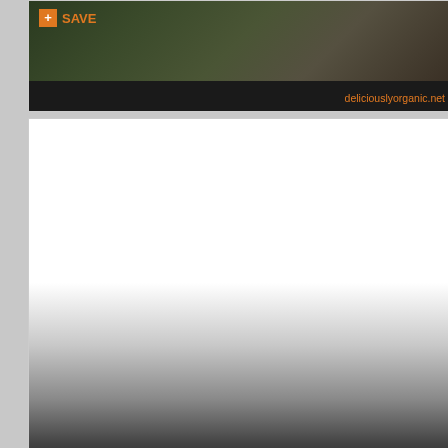[Figure (screenshot): Top partial card showing a food photo with dark overlay, orange SAVE button, and deliciouslyorganic.net URL]
[Figure (screenshot): Recipe card for Blackened Tilapia with Zucchini Noodles showing white food photo area transitioning to dark overlay with 5 stars, 23 reviews, recipe title, SAVE button, and www.tasteXfhome.com URL]
[Figure (screenshot): Bottom partial card showing white background, beginning of another recipe card]